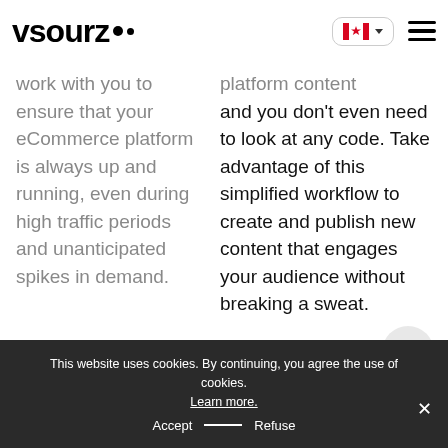[Figure (logo): vsourz logo with two dots, bold lowercase text]
work with you to ensure that your eCommerce platform is always up and running, even during high traffic periods and unanticipated spikes in demand.
platform content and you don't even need to look at any code. Take advantage of this simplified workflow to create and publish new content that engages your audience without breaking a sweat.
This website uses cookies. By continuing, you agree the use of cookies. Learn more.
Accept — Refuse